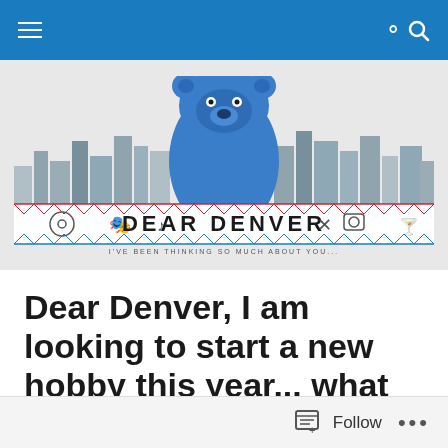Navigation bar with menu and search icons
[Figure (logo): Dear Denver blog logo with bear silhouette against Denver city skyline illustration, text reads DEAR DENVER I'VE BEEN THINKING SO MUCH ABOUT YOU...]
Dear Denver, I am looking to start a new hobby this year... what are my options?
Posted by deardenver
Follow ...